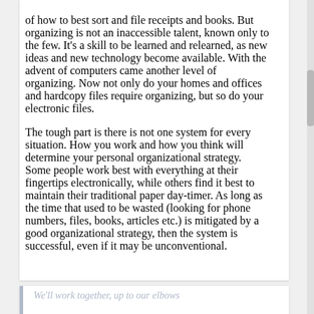of how to best sort and file receipts and books.  But organizing is not an inaccessible talent, known only to the few.  It's a skill to be learned and relearned, as new ideas and new technology become available.  With the advent of computers came another level of organizing.  Now not only do your homes and offices and hardcopy files require organizing, but so do your electronic files.
The tough part is there is not one system for every situation.  How you work and how you think will determine your personal organizational strategy.  Some people work best with everything at their fingertips electronically, while others find it best to maintain their traditional paper day-timer.  As long as the time that used to be wasted (looking for phone numbers, files, books, articles etc.) is mitigated by a good organizational strategy, then the system is successful, even if it may be unconventional.
We'll work together, up to our elbows